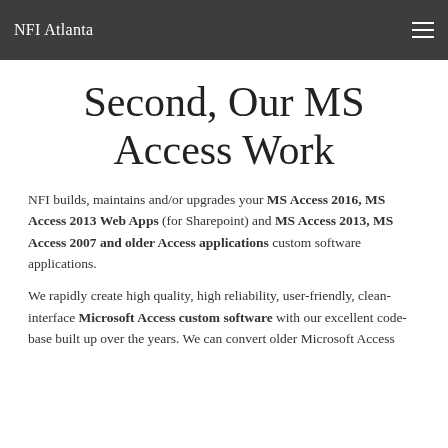NFI Atlanta
Second, Our MS Access Work
NFI builds, maintains and/or upgrades your MS Access 2016, MS Access 2013 Web Apps (for Sharepoint) and MS Access 2013, MS Access 2007 and older Access applications custom software applications.
We rapidly create high quality, high reliability, user-friendly, clean-interface Microsoft Access custom software with our excellent code-base built up over the years. We can convert older Microsoft Access